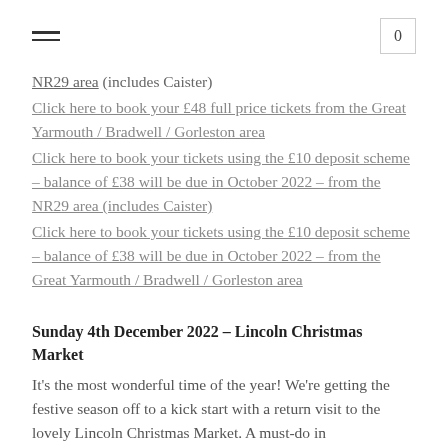≡  0
NR29 area (includes Caister)
Click here to book your £48 full price tickets from the Great Yarmouth / Bradwell / Gorleston area
Click here to book your tickets using the £10 deposit scheme – balance of £38 will be due in October 2022 – from the NR29 area (includes Caister)
Click here to book your tickets using the £10 deposit scheme – balance of £38 will be due in October 2022 – from the Great Yarmouth / Bradwell / Gorleston area
Sunday 4th December 2022 – Lincoln Christmas Market
It's the most wonderful time of the year! We're getting the festive season off to a kick start with a return visit to the lovely Lincoln Christmas Market. A must-do in